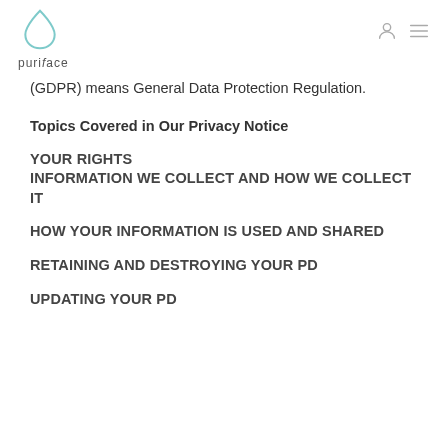puriface
(GDPR) means General Data Protection Regulation.
Topics Covered in Our Privacy Notice
YOUR RIGHTS
INFORMATION WE COLLECT AND HOW WE COLLECT IT
HOW YOUR INFORMATION IS USED AND SHARED
RETAINING AND DESTROYING YOUR PD
UPDATING YOUR PD